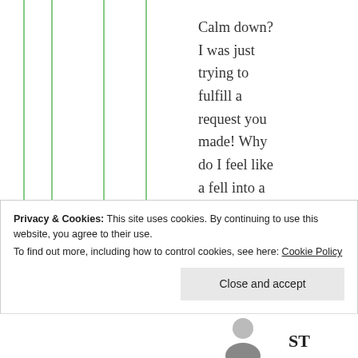Calm down? I was just trying to fulfill a request you made! Why do I feel like a fell into a trap? 🙂
Privacy & Cookies: This site uses cookies. By continuing to use this website, you agree to their use. To find out more, including how to control cookies, see here: Cookie Policy
Close and accept
ST